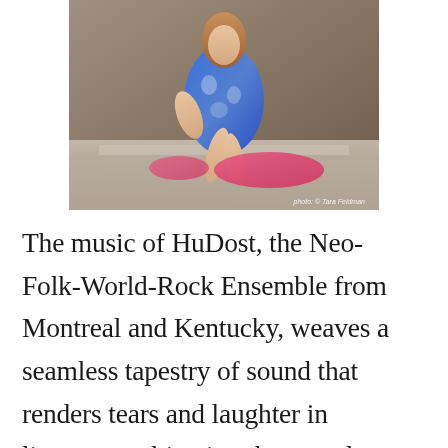[Figure (photo): A woman sitting on stone steps wearing a blue floral dress with pink fabric, photographed outdoors. Photo credit: photo © Tara Feldman]
The music of HuDost, the Neo-Folk-World-Rock Ensemble from Montreal and Kentucky, weaves a seamless tapestry of sound that renders tears and laughter in listeners, cultivating the nameless longing that abides somewhere in all our hearts and invoking total celebration.  HuDost's core musicians are Moksha Sommer